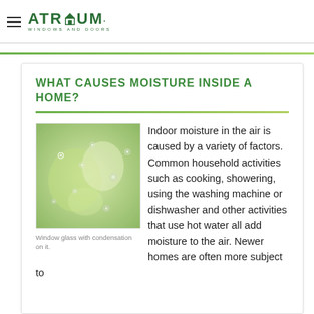ATRIUM Windows and Doors
WHAT CAUSES MOISTURE INSIDE A HOME?
[Figure (photo): Window glass with condensation on it, green-tinted blurry background with water droplets.]
Window glass with condensation on it.
Indoor moisture in the air is caused by a variety of factors. Common household activities such as cooking, showering, using the washing machine or dishwasher and other activities that use hot water all add moisture to the air. Newer homes are often more subject to